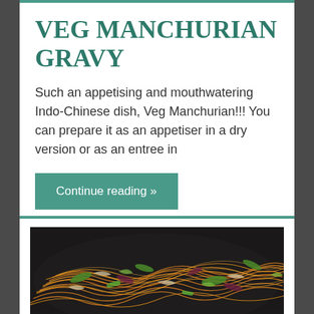VEG MANCHURIAN GRAVY
Such an appetising and mouthwatering Indo-Chinese dish, Veg Manchurian!!! You can prepare it as an appetiser in a dry version or as an entree in
Continue reading »
[Figure (photo): Photo of stir-fried noodles with colorful vegetables including green peppers, red cabbage, and onions on a dark plate]